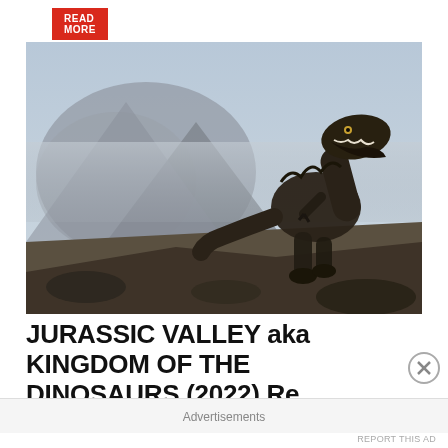READ MORE
[Figure (photo): A T-Rex dinosaur roaring on a rocky landscape with misty mountains in the background, dark moody scene]
JURASSIC VALLEY aka KINGDOM OF THE DINOSAURS (2022) Re...  ...lik
Advertisements
REPORT THIS AD